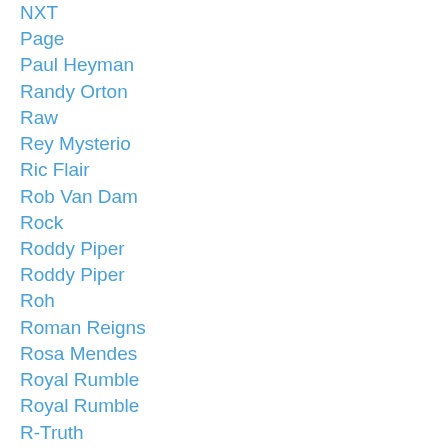NXT
Page
Paul Heyman
Randy Orton
Raw
Rey Mysterio
Ric Flair
Rob Van Dam
Rock
Roddy Piper
Roddy Piper
Roh
Roman Reigns
Rosa Mendes
Royal Rumble
Royal Rumble
R-Truth
Rvd
Ryback
Samoa Joe
Santino Marella